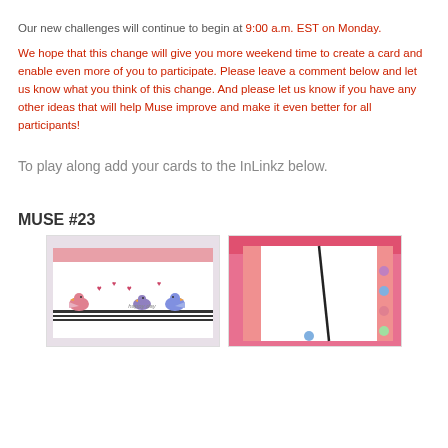Our new challenges will continue to begin at 9:00 a.m. EST on Monday.
We hope that this change will give you more weekend time to create a card and enable even more of you to participate. Please leave a comment below and let us know what you think of this change. And please let us know if you have any other ideas that will help Muse improve and make it even better for all participants!
To play along add your cards to the InLinkz below.
MUSE #23
[Figure (photo): Two greeting cards side by side featuring cute bird illustrations with hearts, pink and white design with 'happy day' text]